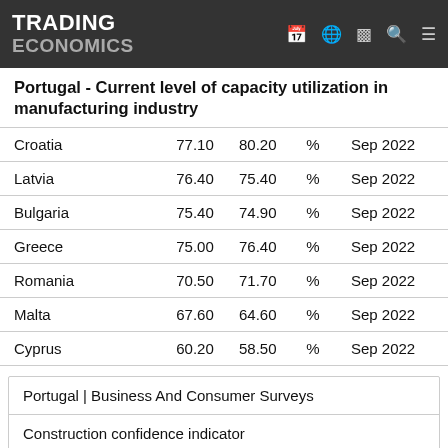TRADING ECONOMICS
Portugal - Current level of capacity utilization in manufacturing industry
| Country | Value1 | Value2 | Unit | Date |
| --- | --- | --- | --- | --- |
| Croatia | 77.10 | 80.20 | % | Sep 2022 |
| Latvia | 76.40 | 75.40 | % | Sep 2022 |
| Bulgaria | 75.40 | 74.90 | % | Sep 2022 |
| Greece | 75.00 | 76.40 | % | Sep 2022 |
| Romania | 70.50 | 71.70 | % | Sep 2022 |
| Malta | 67.60 | 64.60 | % | Sep 2022 |
| Cyprus | 60.20 | 58.50 | % | Sep 2022 |
Portugal | Business And Consumer Surveys
Construction confidence indicator